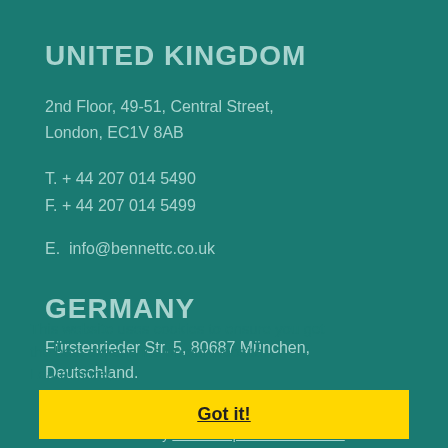UNITED KINGDOM
2nd Floor, 49-51, Central Street,
London, EC1V 8AB
T. + 44 207 014 5490
F. + 44 207 014 5499
E.  info@bennettc.co.uk
GERMANY
Fürstenrieder Str. 5, 80687 München,
Deutschland.
This website uses cookies to ensure you get the best experience on our website. Learn more!
Got it!
Co... | ...ivacy Policy | Terms & Conditions
Website By INET Computer Solutions Ltd.